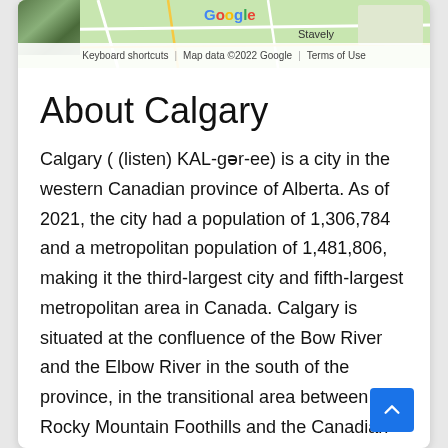[Figure (map): Google Maps screenshot showing an area near Stavely, with map footer showing 'Keyboard shortcuts | Map data ©2022 Google | Terms of Use'. A small photo thumbnail is visible in the top-left corner of the map.]
About Calgary
Calgary ( (listen) KAL-gər-ee) is a city in the western Canadian province of Alberta. As of 2021, the city had a population of 1,306,784 and a metropolitan population of 1,481,806, making it the third-largest city and fifth-largest metropolitan area in Canada. Calgary is situated at the confluence of the Bow River and the Elbow River in the south of the province, in the transitional area between the Rocky Mountain Foothills and the Canadian Prairies, about 80 km (50 mi) east of the front range of the Canadian Rockies, and by 300